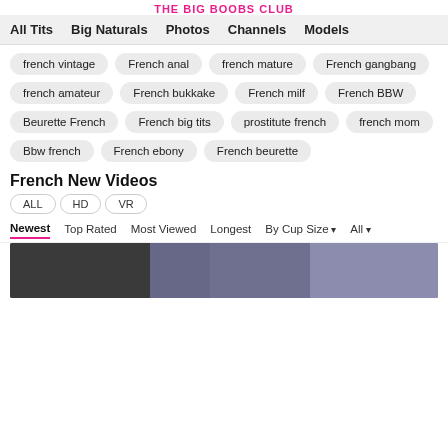THE BIG BOOBS CLUB
All Tits  Big Naturals  Photos  Channels  Models
french vintage
French anal
french mature
French gangbang
french amateur
French bukkake
French milf
French BBW
Beurette French
French big tits
prostitute french
french mom
Bbw french
French ebony
French beurette
French New Videos
ALL  HD  VR
Newest  Top Rated  Most Viewed  Longest  By Cup Size  All
[Figure (photo): Video thumbnail preview]